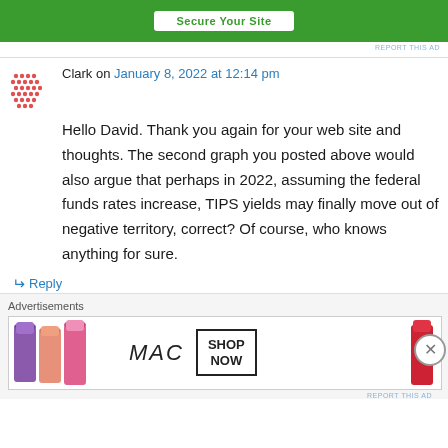[Figure (other): Green advertisement banner with 'Secure Your Site' button in white]
REPORT THIS AD
Clark on January 8, 2022 at 12:14 pm
Hello David. Thank you again for your web site and thoughts. The second graph you posted above would also argue that perhaps in 2022, assuming the federal funds rates increase, TIPS yields may finally move out of negative territory, correct? Of course, who knows anything for sure.
↵ Reply
Advertisements
[Figure (photo): MAC cosmetics advertisement showing lipsticks with 'MAC' logo and 'SHOP NOW' box]